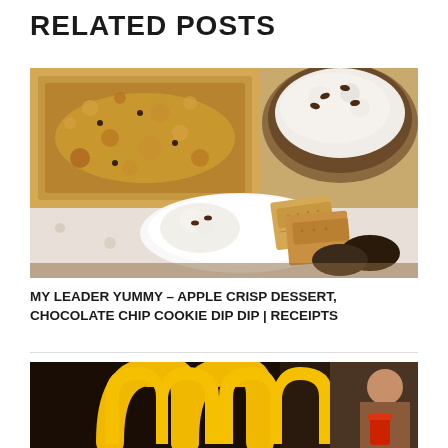RELATED POSTS
[Figure (photo): Food photo showing apple crisp dessert in a baking dish and chocolate chip cookie dip in a bowl, with a plate showing graham crackers and cookies]
MY LEADER YUMMY – APPLE CRISP DESSERT, CHOCOLATE CHIP COOKIE DIP DIP | RECEIPTS
[Figure (photo): McDonald's golden arches logo on dark background with a person visible on the right side]